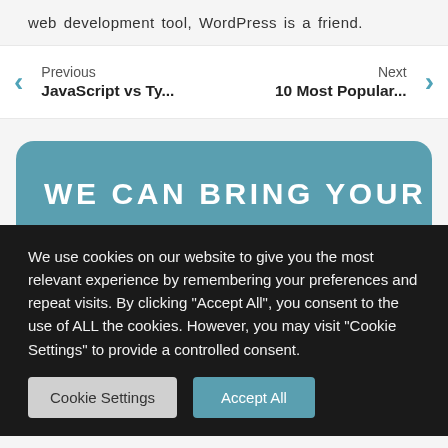web development tool, WordPress is a friend.
Previous
JavaScript vs Ty...
Next
10 Most Popular...
WE CAN BRING YOUR
We use cookies on our website to give you the most relevant experience by remembering your preferences and repeat visits. By clicking "Accept All", you consent to the use of ALL the cookies. However, you may visit "Cookie Settings" to provide a controlled consent.
Cookie Settings
Accept All